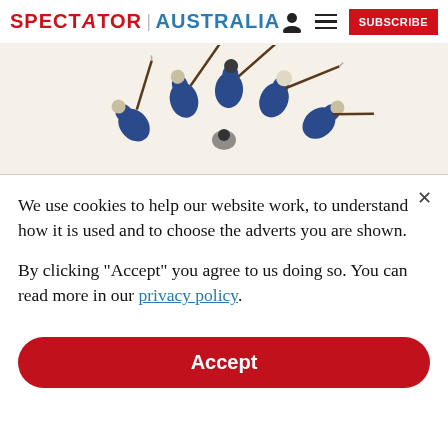SPECTATOR | AUSTRALIA
[Figure (illustration): Illustration showing soldiers in blue uniforms from a top-down perspective, holding rifles with bayonets pointing inward in a circular formation, on a light beige background.]
We use cookies to help our website work, to understand how it is used and to choose the adverts you are shown.
By clicking "Accept" you agree to us doing so. You can read more in our privacy policy.
Accept